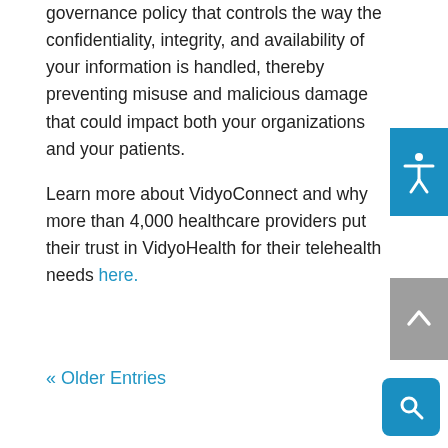governance policy that controls the way the confidentiality, integrity, and availability of your information is handled, thereby preventing misuse and malicious damage that could impact both your organizations and your patients.
Learn more about VidyoConnect and why more than 4,000 healthcare providers put their trust in VidyoHealth for their telehealth needs here.
« Older Entries